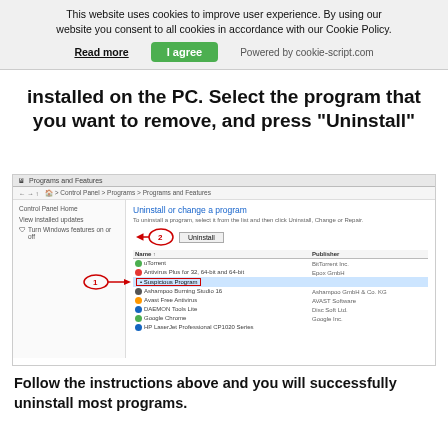This website uses cookies to improve user experience. By using our website you consent to all cookies in accordance with our Cookie Policy. Read more   I agree   Powered by cookie-script.com
installed on the PC. Select the program that you want to remove, and press "Uninstall"
[Figure (screenshot): Windows Programs and Features control panel screenshot showing a list of installed programs with 'Suspicious Program' selected (highlighted in blue) with arrow annotation labeled 1, and an Uninstall button at the top with arrow annotation labeled 2.]
Follow the instructions above and you will successfully uninstall most programs.